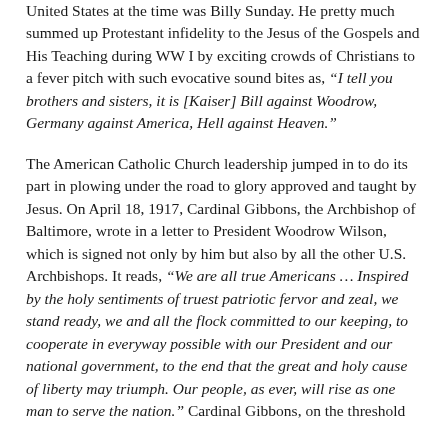United States at the time was Billy Sunday. He pretty much summed up Protestant infidelity to the Jesus of the Gospels and His Teaching during WW I by exciting crowds of Christians to a fever pitch with such evocative sound bites as, “I tell you brothers and sisters, it is [Kaiser] Bill against Woodrow, Germany against America, Hell against Heaven.”
The American Catholic Church leadership jumped in to do its part in plowing under the road to glory approved and taught by Jesus. On April 18, 1917, Cardinal Gibbons, the Archbishop of Baltimore, wrote in a letter to President Woodrow Wilson, which is signed not only by him but also by all the other U.S. Archbishops. It reads, “We are all true Americans … Inspired by the holy sentiments of truest patriotic fervor and zeal, we stand ready, we and all the flock committed to our keeping, to cooperate in everyway possible with our President and our national government, to the end that the great and holy cause of liberty may triumph. Our people, as ever, will rise as one man to serve the nation.” Cardinal Gibbons, on the threshold